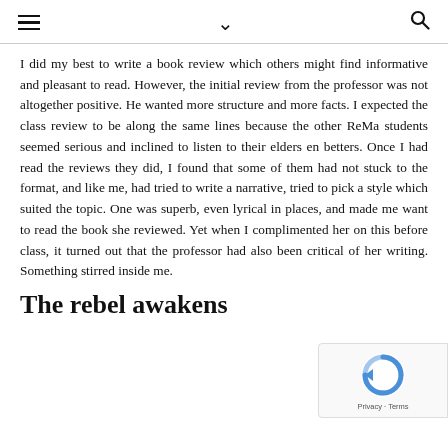≡  ∨  🔍
I did my best to write a book review which others might find informative and pleasant to read. However, the initial review from the professor was not altogether positive. He wanted more structure and more facts. I expected the class review to be along the same lines because the other ReMa students seemed serious and inclined to listen to their elders en betters. Once I had read the reviews they did, I found that some of them had not stuck to the format, and like me, had tried to write a narrative, tried to pick a style which suited the topic. One was superb, even lyrical in places, and made me want to read the book she reviewed. Yet when I complimented her on this before class, it turned out that the professor had also been critical of her writing. Something stirred inside me.
The rebel awakens